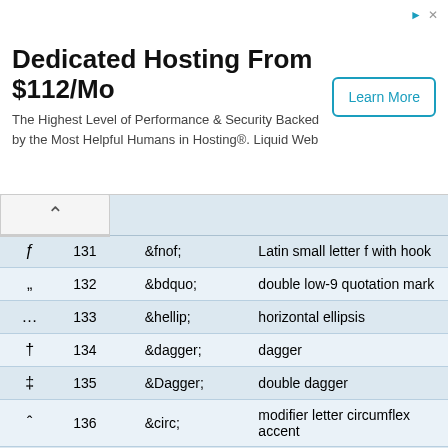[Figure (other): Advertisement banner: Dedicated Hosting From $112/Mo. The Highest Level of Performance & Security Backed by the Most Helpful Humans in Hosting®. Liquid Web. Button: Learn More.]
| Character | Number | Entity | Description |
| --- | --- | --- | --- |
| ƒ | 131 | &fnof; | Latin small letter f with hook |
| „ | 132 | &bdquo; | double low-9 quotation mark |
| … | 133 | &hellip; | horizontal ellipsis |
| † | 134 | &dagger; | dagger |
| ‡ | 135 | &Dagger; | double dagger |
| ˆ | 136 | &circ; | modifier letter circumflex accent |
| ‰ | 137 | &permil; | per mille sign |
| Š | 138 | &Scaron; | Latin capital letter S with caron |
| ‹ | 139 | &lsaquo; | single left-pointing angle quotation mark |
| Œ | 140 | &OElig; | Latin capital ligature OE |